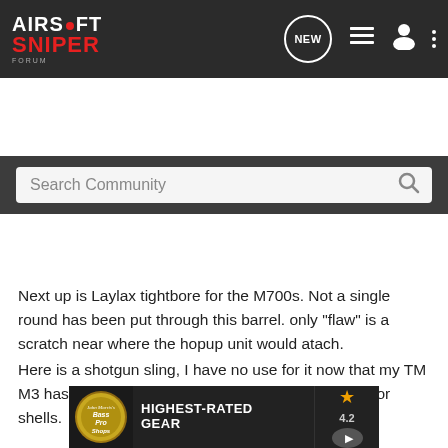Airsoft Sniper Forum navigation bar with logo, NEW button, list icon, user icon, and menu icon
Search Community
[Figure (photo): Close-up photo of a gun barrel with camouflage/wood grain texture, showing green and brown tones with a horizontal stripe detail]
Next up is Laylax tightbore for the M700s. Not a single round has been put through this barrel. only "flaw" is a scratch near where the hopup unit would atach.
Here is a shotgun sling, I have no use for it now that my TM M3 has been sold, so its up for $15. it has 15 loops for shells.
[Figure (other): Bass Pro Shops advertisement banner: HIGHEST-RATED GEAR, rating 4.2 stars, with play button]